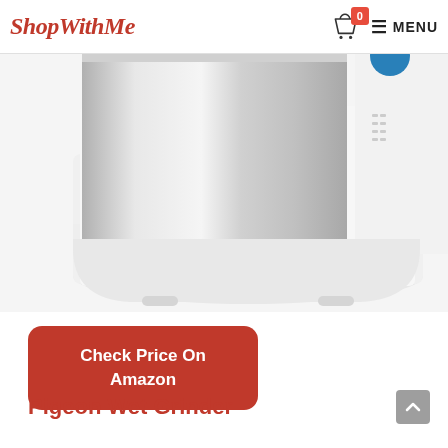ShopWithMe — cart: 0 — MENU
[Figure (photo): Close-up photo of a white Pigeon wet grinder appliance with a stainless steel drum/container, showing the lower body and base of the machine on a white background.]
Check Price On Amazon
Pigeon Wet Grinder